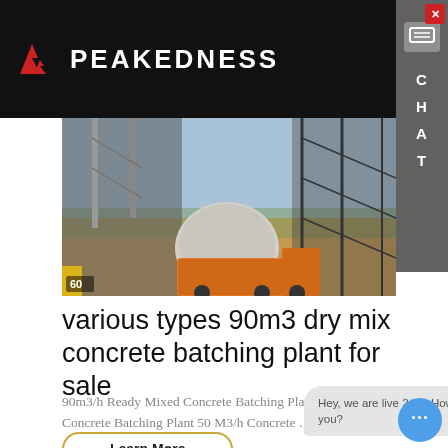PEAKEDNESS
[Figure (photo): Concrete batching plant with industrial structure, mixer truck, and scaffolding. Label '60' visible in lower left.]
various types 90m3 dry mix concrete batching plant for sale
90m3/h Ready Mixed Concrete Batching Plant. Ready Mixed Concrete Batching Plant 50 M3/h Concrete . popular 90m3/...
Learn More
Hey, we are live 24/7. How may I help you?